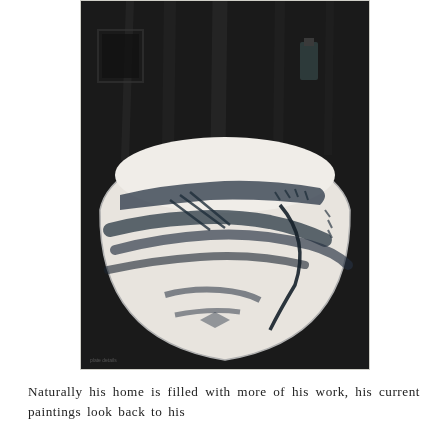[Figure (photo): Black and white photograph of a ceramic bowl or pot with abstract dark markings and textures on a dark background. The bowl is wide and rounded, with an open top revealing a white interior. The exterior shows dark gestural painted or drawn marks.]
Naturally his home is filled with more of his work, his current paintings look back to his